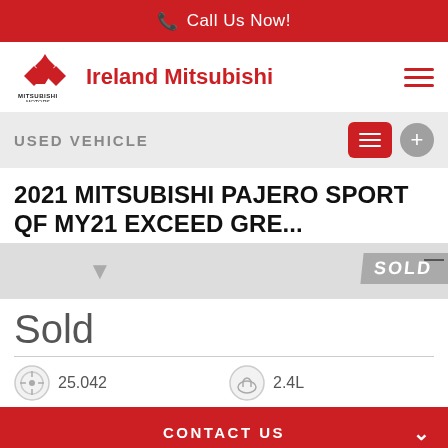Call Us Now!
Ireland Mitsubishi
USED VEHICLE
2021 MITSUBISHI PAJERO SPORT QF MY21 EXCEED GRE...
Sold
25.042
2.4L
CONTACT US
FINANCE THIS VEHICLE